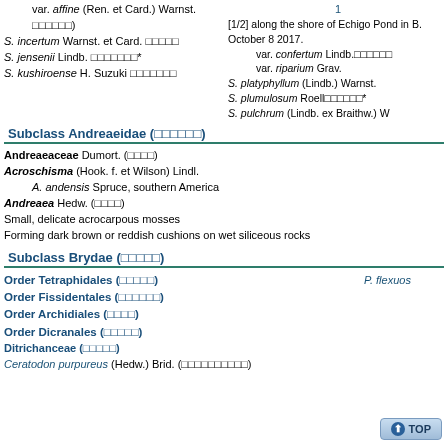var. affine (Ren. et Card.) Warnst. □□□□□□□)
S. incertum Warnst. et Card. □□□□□
S. jensenii Lindb. □□□□□□□*
S. kushiroense H. Suzuki □□□□□□□
1
[1/2] along the shore of Echigo Pond in B. October 8 2017.
    var. confertum Lindb.□□□□□□
    var. riparium Grav.
S. platyphyllum (Lindb.) Warnst.
S. plumulosum Roell□□□□□□*
S. pulchrum (Lindb. ex Braithw.) W
Subclass Andreaeidae (□□□□□□)
Andreaeaceae Dumort. (□□□□)
Acroschisma (Hook. f. et Wilson) Lindl.
    A. andensis Spruce, southern America
Andreaea Hedw. (□□□)
Small, delicate acrocarpous mosses
Forming dark brown or reddish cushions on wet siliceous rocks
Subclass Brydae (□□□□□)
P. flexuos
Order Tetraphidales (□□□□□)
Order Fissidentales (□□□□□□)
Order Archidiales (□□□□)
Order Dicranales (□□□□□)
Ditrichanceae (□□□□□)
Ceratodon purpureus (Hedw.) Brid. (□□□□□□□□□□)